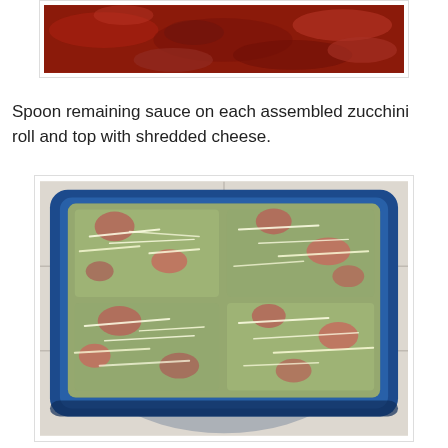[Figure (photo): Close-up photo of red tomato sauce in a pan, partially cropped at the top of the page]
Spoon remaining sauce on each assembled zucchini roll and top with shredded cheese.
[Figure (photo): Photo of zucchini rolls topped with tomato sauce and shredded cheese in a blue glass baking dish, placed on white tile surface]